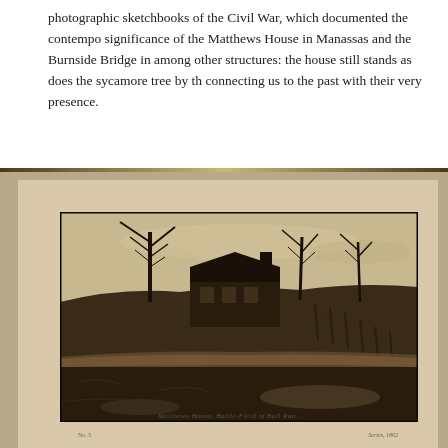photographic sketchbooks of the Civil War, which documented the contemporary significance of the Matthews House in Manassas and the Burnside Bridge in among other structures: the house still stands as does the sycamore tree by the connecting us to the past with their very presence.
[Figure (photo): Historical black-and-white photograph mounted on cream/tan album page showing the Matthews House battlefield scene. The photo depicts a farmhouse with bare winter trees, a hillside with a wooden fence, muddy ground and a small stream or puddle in the foreground. Below the photo, a handwritten or printed caption reads 'Matthews House, Battle-Field of Bull Run.' Small notations appear at the bottom corners of the album page.]